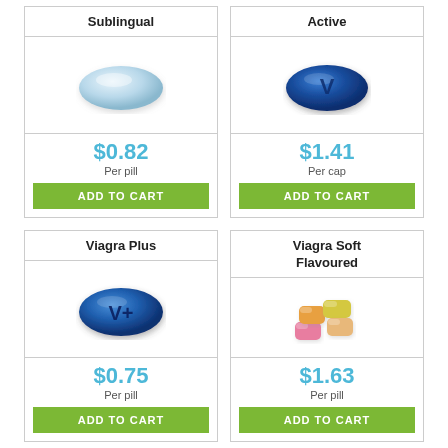Sublingual
[Figure (illustration): Light blue oval sublingual pill]
$0.82
Per pill
ADD TO CART
Active
[Figure (illustration): Dark blue oval pill with V marking]
$1.41
Per cap
ADD TO CART
Viagra Plus
[Figure (illustration): Blue oval pill with V+ marking]
$0.75
Per pill
ADD TO CART
Viagra Soft Flavoured
[Figure (illustration): Colorful soft chewable pills in pink, orange, yellow]
$1.63
Per pill
ADD TO CART